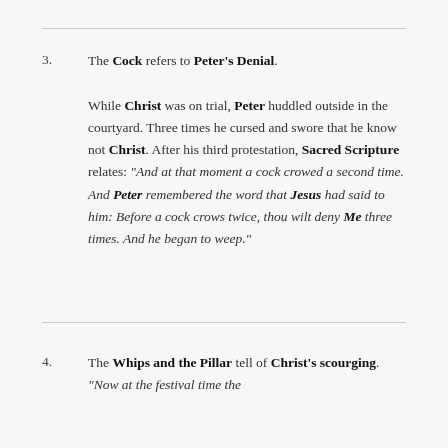3. The Cock refers to Peter's Denial. While Christ was on trial, Peter huddled outside in the courtyard. Three times he cursed and swore that he know not Christ. After his third protestation, Sacred Scripture relates: “And at that moment a cock crowed a second time. And Peter remembered the word that Jesus had said to him: Before a cock crows twice, thou wilt deny Me three times. And he began to weep.”
4. The Whips and the Pillar tell of Christ’s scourging. “Now at the festival time the